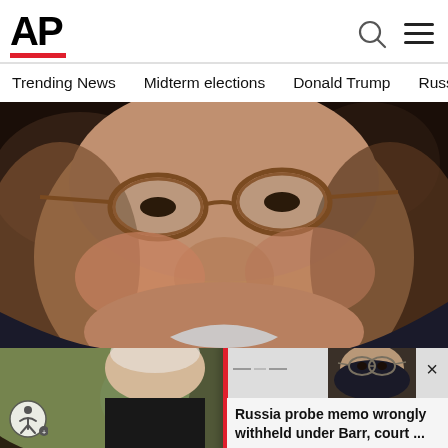[Figure (logo): AP (Associated Press) logo in bold black letters with red underline bar]
Trending News   Midterm elections   Donald Trump   Russia-Ukr
[Figure (photo): Close-up photo of a heavyset man with tortoiseshell glasses, wearing a dark suit and white shirt]
[Figure (photo): Partial photo of an older man, bottom of page]
[Figure (photo): Small thumbnail photo of William Barr with glasses in floating card overlay]
Russia probe memo wrongly withheld under Barr, court ...